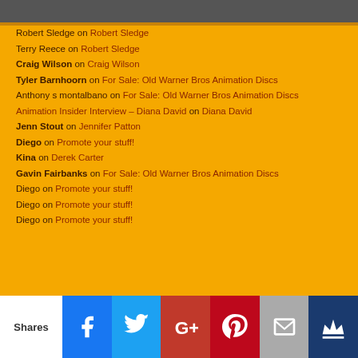[Figure (other): Dark gray top banner bar]
Robert Sledge on Robert Sledge
Terry Reece on Robert Sledge
Craig Wilson on Craig Wilson
Tyler Barnhoorn on For Sale: Old Warner Bros Animation Discs
Anthony s montalbano on For Sale: Old Warner Bros Animation Discs
Animation Insider Interview – Diana David on Diana David
Jenn Stout on Jennifer Patton
Diego on Promote your stuff!
Kina on Derek Carter
Gavin Fairbanks on For Sale: Old Warner Bros Animation Discs
Diego on Promote your stuff!
Diego on Promote your stuff!
Diego on Promote your stuff!
Shares | Facebook | Twitter | Google+ | Pinterest | Email | Crown